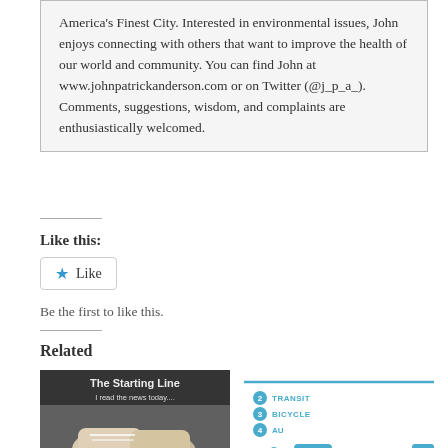America's Finest City. Interested in environmental issues, John enjoys connecting with others that want to improve the health of our world and community. You can find John at www.johnpatrickanderson.com or on Twitter (@j_p_a_). Comments, suggestions, wisdom, and complaints are enthusiastically welcomed.
Like this:
Like
Be the first to like this.
Related
[Figure (photo): Photo showing sneakers from above with text 'The Starting Line' and 'I read the news today...' overlaid on a gravel background]
[Figure (infographic): Transit infographic showing icons for transit (bus), bicycle, and other modes with numbered labels in blue on white background]